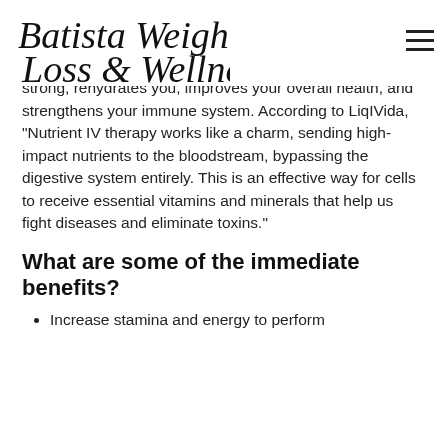Batista Weight Loss & Wellness
It is designed to improve the quality of your life, gives you much-needed energy boosts, provides your body with the most vital nutrients to keep it healthy and strong, rehydrates you, improves your overall health, and strengthens your immune system. According to LiqIVida, “Nutrient IV therapy works like a charm, sending high-impact nutrients to the bloodstream, bypassing the digestive system entirely. This is an effective way for cells to receive essential vitamins and minerals that help us fight diseases and eliminate toxins.”
What are some of the immediate benefits?
Increase stamina and energy to perform